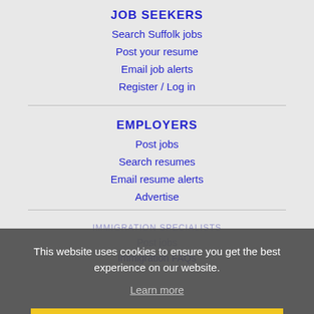JOB SEEKERS
Search Suffolk jobs
Post your resume
Email job alerts
Register / Log in
EMPLOYERS
Post jobs
Search resumes
Email resume alerts
Advertise
This website uses cookies to ensure you get the best experience on our website.
Learn more
Got it!
IMMIGRATION SPECIALISTS
Post jobs
Immigration FAQs